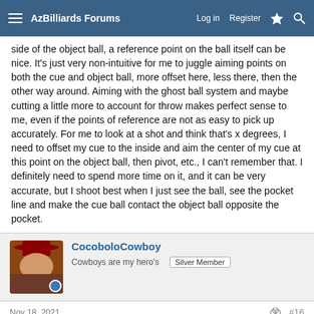AzBilliards Forums | Log in | Register
side of the object ball, a reference point on the ball itself can be nice. It's just very non-intuitive for me to juggle aiming points on both the cue and object ball, more offset here, less there, then the other way around. Aiming with the ghost ball system and maybe cutting a little more to account for throw makes perfect sense to me, even if the points of reference are not as easy to pick up accurately. For me to look at a shot and think that's x degrees, I need to offset my cue to the inside and aim the center of my cue at this point on the object ball, then pivot, etc., I can't remember that. I definitely need to spend more time on it, and it can be very accurate, but I shoot best when I just see the ball, see the pocket line and make the cue ball contact the object ball opposite the pocket.
CocoboloCowboy
Cowboys are my hero's  Silver Member
Nov 18, 2021  #16